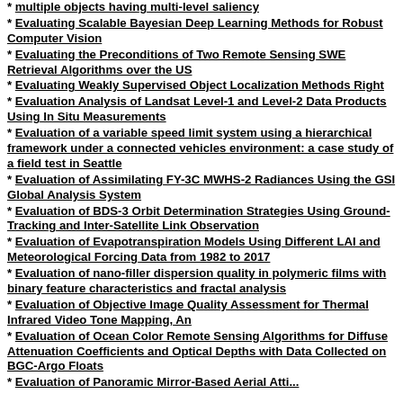* multiple objects having multi-level saliency
* Evaluating Scalable Bayesian Deep Learning Methods for Robust Computer Vision
* Evaluating the Preconditions of Two Remote Sensing SWE Retrieval Algorithms over the US
* Evaluating Weakly Supervised Object Localization Methods Right
* Evaluation Analysis of Landsat Level-1 and Level-2 Data Products Using In Situ Measurements
* Evaluation of a variable speed limit system using a hierarchical framework under a connected vehicles environment: a case study of a field test in Seattle
* Evaluation of Assimilating FY-3C MWHS-2 Radiances Using the GSI Global Analysis System
* Evaluation of BDS-3 Orbit Determination Strategies Using Ground-Tracking and Inter-Satellite Link Observation
* Evaluation of Evapotranspiration Models Using Different LAI and Meteorological Forcing Data from 1982 to 2017
* Evaluation of nano-filler dispersion quality in polymeric films with binary feature characteristics and fractal analysis
* Evaluation of Objective Image Quality Assessment for Thermal Infrared Video Tone Mapping, An
* Evaluation of Ocean Color Remote Sensing Algorithms for Diffuse Attenuation Coefficients and Optical Depths with Data Collected on BGC-Argo Floats
* Evaluation of Panoramic Mirror-Based Aerial Atti...